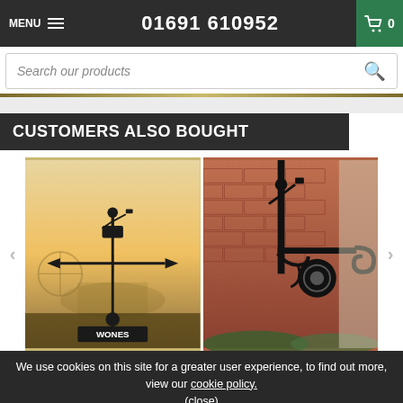MENU  01691 610952  0
Search our products
CUSTOMERS ALSO BOUGHT
[Figure (photo): Black metal weathervane with blacksmith figure on top, arrow pointer, and decorative 'WONES' name plate, set against a blurred sunset/industrial background]
[Figure (photo): Black metal wall-mounted hanging basket bracket with blacksmith figure on top, ornate scrollwork and sun face design, mounted on red brick wall with green plants below]
We use cookies on this site for a greater user experience, to find out more, view our cookie policy.
(close)
Swe... WAS £160.00  £99.20
Basket Bracket  WAS £49.99  £40.00